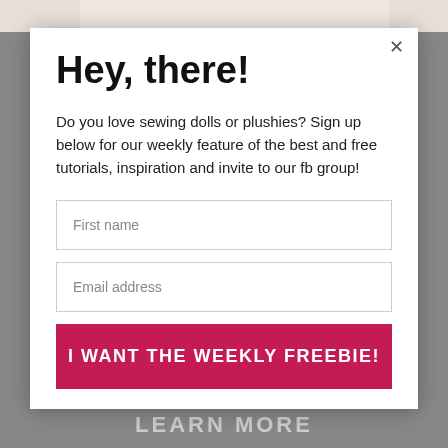[Figure (screenshot): Website popup/modal overlay on a gray background with colorful doll/plushie images visible at top. The modal contains a sign-up form.]
Hey, there!
Do you love sewing dolls or plushies? Sign up below for our weekly feature of the best and free tutorials, inspiration and invite to our fb group!
First name
Email address
I WANT THE WEEKLY FREEBIE!
LEARN MORE